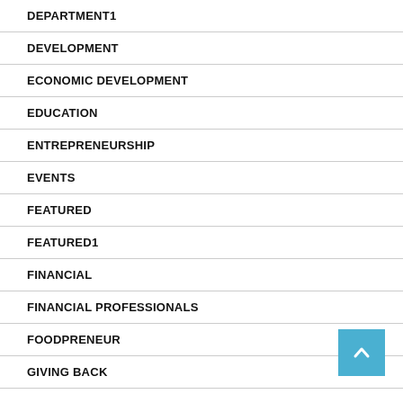DEPARTMENT1
DEVELOPMENT
ECONOMIC DEVELOPMENT
EDUCATION
ENTREPRENEURSHIP
EVENTS
FEATURED
FEATURED1
FINANCIAL
FINANCIAL PROFESSIONALS
FOODPRENEUR
GIVING BACK